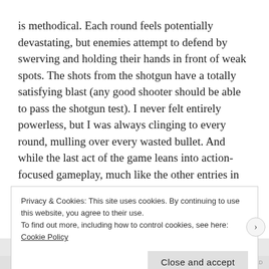is methodical. Each round feels potentially devastating, but enemies attempt to defend by swerving and holding their hands in front of weak spots. The shots from the shotgun have a totally satisfying blast (any good shooter should be able to pass the shotgun test). I never felt entirely powerless, but I was always clinging to every round, mulling over every wasted bullet. And while the last act of the game leans into action-focused gameplay, much like the other entries in the series, I never felt overpowered or bored, and the game ends before it overstays its welcome.
Privacy & Cookies: This site uses cookies. By continuing to use this website, you agree to their use.
To find out more, including how to control cookies, see here: Cookie Policy
Close and accept